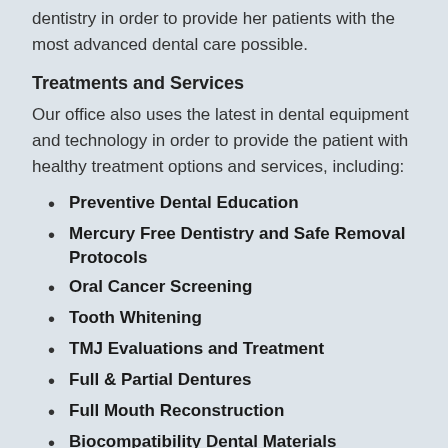dentistry in order to provide her patients with the most advanced dental care possible.
Treatments and Services
Our office also uses the latest in dental equipment and technology in order to provide the patient with healthy treatment options and services, including:
Preventive Dental Education
Mercury Free Dentistry and Safe Removal Protocols
Oral Cancer Screening
Tooth Whitening
TMJ Evaluations and Treatment
Full & Partial Dentures
Full Mouth Reconstruction
Biocompatibility Dental Materials